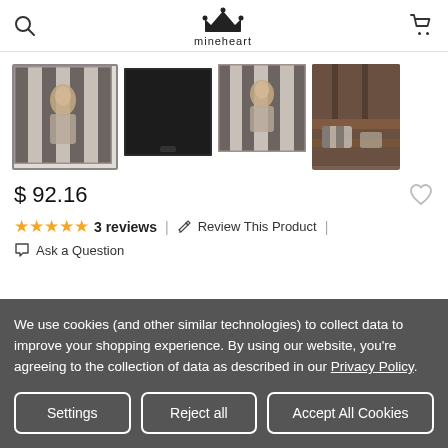mineheart
[Figure (photo): Four product thumbnail images of decorative pillows: first selected with border showing striped pillow with portrait, second solid black pillow, third striped pillow with portrait, fourth lifestyle photo of pillow on shelf]
$ 92.16
★★★★★ 3 reviews | ✎ Review This Product |
Ask a Question
We use cookies (and other similar technologies) to collect data to improve your shopping experience. By using our website, you're agreeing to the collection of data as described in our Privacy Policy.
Settings | Reject all | Accept All Cookies